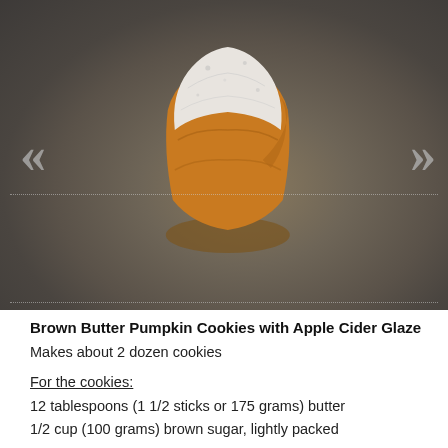[Figure (photo): A single pumpkin cookie with white apple cider glaze on top, with a bite taken out showing the orange interior, photographed on a gray/brown surface with navigation arrows overlaid.]
Brown Butter Pumpkin Cookies with Apple Cider Glaze
Makes about 2 dozen cookies
For the cookies:
12 tablespoons (1 1/2 sticks or 175 grams) butter
1/2 cup (100 grams) brown sugar, lightly packed